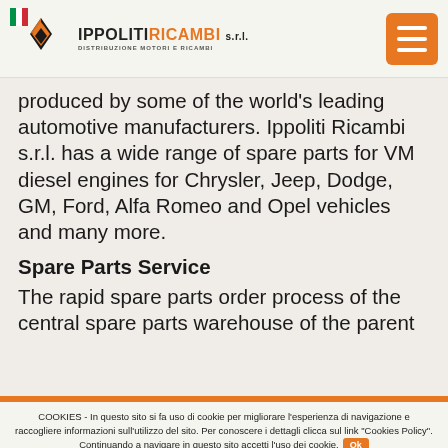IPPOLITI RICAMBI s.r.l. - DISTRIBUZIONE MOTORI E RICAMBI
produced by some of the world's leading automotive manufacturers. Ippoliti Ricambi s.r.l. has a wide range of spare parts for VM diesel engines for Chrysler, Jeep, Dodge, GM, Ford, Alfa Romeo and Opel vehicles and many more.
Spare Parts Service
The rapid spare parts order process of the central spare parts warehouse of the parent
COOKIES - In questo sito si fa uso di cookie per migliorare l'esperienza di navigazione e raccogliere informazioni sull'utilizzo del sito. Per conoscere i dettagli clicca sul link "Cookies Policy". Continuando a navigare in questo sito accetti l'uso dei cookie. Ok
Cookies Policy